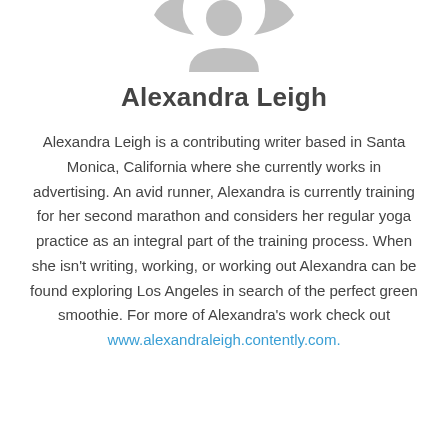[Figure (illustration): Generic user avatar icon in light gray, showing a stylized silhouette of a person (head and shoulders), centered at the top of the page.]
Alexandra Leigh
Alexandra Leigh is a contributing writer based in Santa Monica, California where she currently works in advertising. An avid runner, Alexandra is currently training for her second marathon and considers her regular yoga practice as an integral part of the training process. When she isn't writing, working, or working out Alexandra can be found exploring Los Angeles in search of the perfect green smoothie. For more of Alexandra's work check out www.alexandraleigh.contently.com.